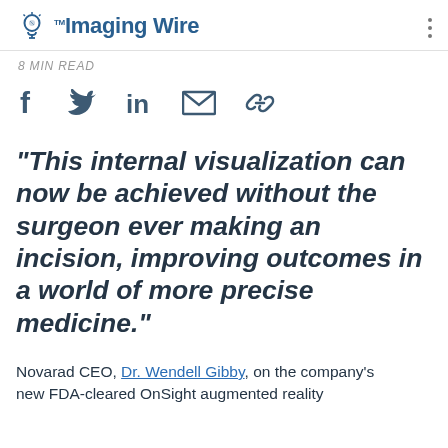The Imaging Wire
8 MIN READ
[Figure (other): Social share icons: Facebook, Twitter, LinkedIn, Email, Link]
“This internal visualization can now be achieved without the surgeon ever making an incision, improving outcomes in a world of more precise medicine.”
Novarad CEO, Dr. Wendell Gibby, on the company’s new FDA-cleared OnSight augmented reality